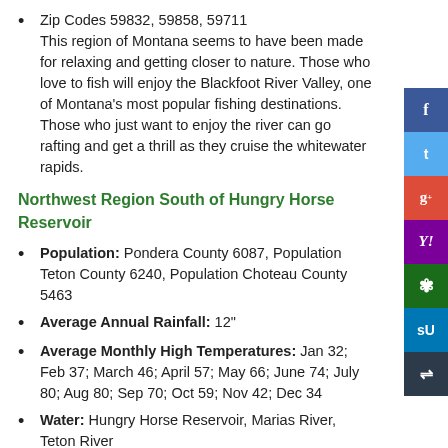Zip Codes 59832, 59858, 59711
This region of Montana seems to have been made for relaxing and getting closer to nature. Those who love to fish will enjoy the Blackfoot River Valley, one of Montana's most popular fishing destinations. Those who just want to enjoy the river can go rafting and get a thrill as they cruise the whitewater rapids.
Northwest Region South of Hungry Horse Reservoir
Population: Pondera County 6087, Population Teton County 6240, Population Choteau County 5463
Average Annual Rainfall: 12"
Average Monthly High Temperatures: Jan 32; Feb 37; March 46; April 57; May 66; June 74; July 80; Aug 80; Sep 70; Oct 59; Nov 42; Dec 34
Water: Hungry Horse Reservoir, Marias River, Teton River
Zip Codes: 59425, 59448, 59486
With 14 campgrounds at the Hungry Horse Reservoir alone, this area will please those looking for a peaceful getaway. The Marius River offers fly fishing and rafting. Visit the Choteau County Fair or gather up the family and the bike and take a 1-3